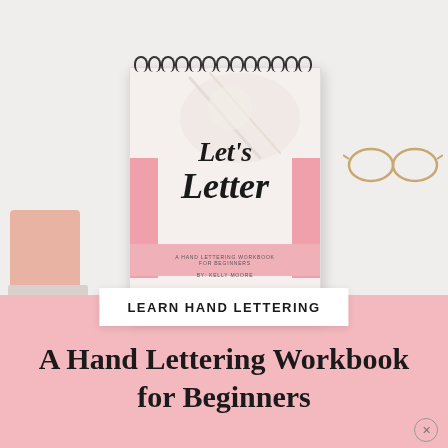[Figure (photo): Spiral-bound hand lettering workbook titled 'Let's Letter - A Hand Lettering Workbook for Beginners by Kelly Moore', displayed standing upright on a white surface. Decorative props visible: pink glass candle holder on left, gold-rimmed glasses on right, pink decorative circle top right. Book has white cover with script lettering and pink accent bands.]
LEARN HAND LETTERING
A Hand Lettering Workbook for Beginners